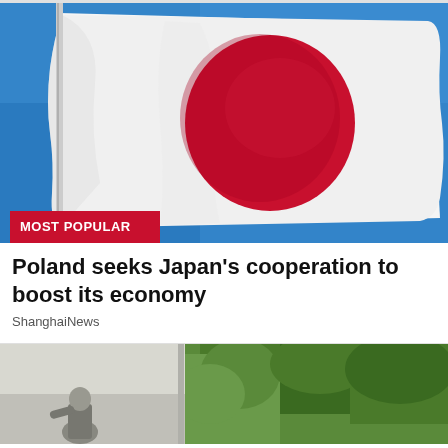[Figure (photo): Japan national flag (Hinomaru) waving against a bright blue sky, with a white background and red circle in the center. A flagpole is visible on the left side. A red badge reading MOST POPULAR is overlaid at the bottom left.]
Poland seeks Japan's cooperation to boost its economy
ShanghaiNews
[Figure (photo): Partial view of an outdoor scene with green trees and a person visible at the bottom, cropped at the bottom of the page.]